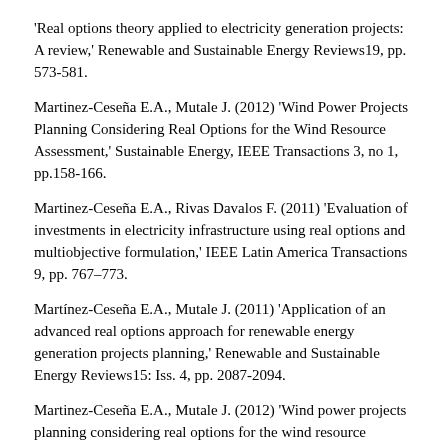'Real options theory applied to electricity generation projects: A review,' Renewable and Sustainable Energy Reviews19, pp. 573-581.
Martinez-Ceseña E.A., Mutale J. (2012) 'Wind Power Projects Planning Considering Real Options for the Wind Resource Assessment,' Sustainable Energy, IEEE Transactions 3, no 1, pp.158-166.
Martinez-Ceseña E.A., Rivas Davalos F. (2011) 'Evaluation of investments in electricity infrastructure using real options and multiobjective formulation,' IEEE Latin America Transactions 9, pp. 767–773.
Martínez-Ceseña E.A., Mutale J. (2011) 'Application of an advanced real options approach for renewable energy generation projects planning,' Renewable and Sustainable Energy Reviews15: Iss. 4, pp. 2087-2094.
Martinez-Ceseña E.A., Mutale J. (2012) 'Wind power projects planning considering real options for the wind resource assessment,' IEEE Transactions on Sustainable Energy 3, pp. 158-166.